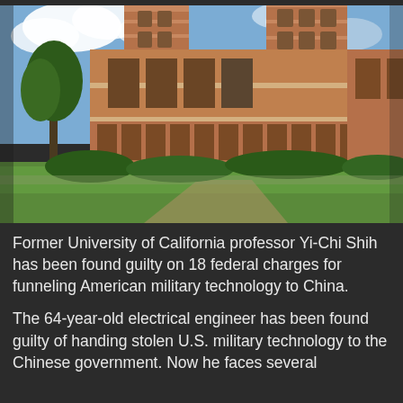[Figure (photo): Photograph of Royce Hall at UCLA (University of California, Los Angeles), a large Romanesque Revival brick building with two tall towers, arched windows, colonnades, and a large green lawn in the foreground under a partly cloudy sky.]
Former University of California professor Yi-Chi Shih has been found guilty on 18 federal charges for funneling American military technology to China.
The 64-year-old electrical engineer has been found guilty of handing stolen U.S. military technology to the Chinese government. Now he faces several